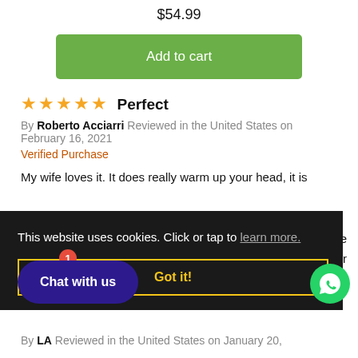$54.99
[Figure (other): Green 'Add to cart' button]
★★★★★ Perfect
By Roberto Acciarri Reviewed in the United States on February 16, 2021
Verified Purchase
My wife loves it. It does really warm up your head, it is ...s are ...er
This website uses cookies. Click or tap to learn more.
Got it!
Chat with us
By LA Reviewed in the United States on January 20,